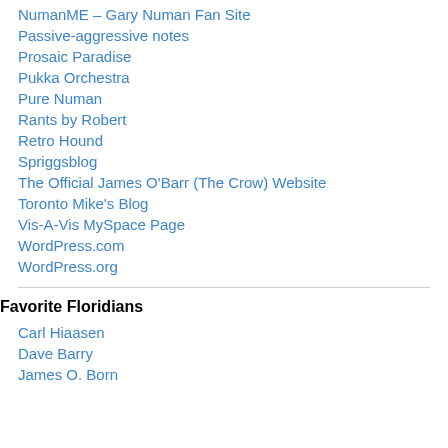NumanME – Gary Numan Fan Site
Passive-aggressive notes
Prosaic Paradise
Pukka Orchestra
Pure Numan
Rants by Robert
Retro Hound
Spriggsblog
The Official James O'Barr (The Crow) Website
Toronto Mike's Blog
Vis-A-Vis MySpace Page
WordPress.com
WordPress.org
Favorite Floridians
Carl Hiaasen
Dave Barry
James O. Born